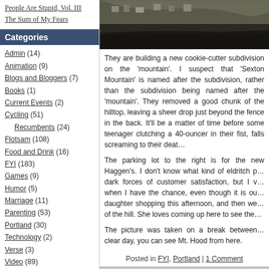People Are Stupid, Vol. III
The Sum of My Fears
Categories
Admin (14)
Animation (9)
Blogs and Bloggers (7)
Books (1)
Current Events (2)
Cycling (51)
Recumbents (24)
Flotsam (108)
Food and Drink (16)
FYI (183)
Games (9)
Humor (5)
Marriage (11)
Parenting (53)
Portland (30)
Technology (2)
Verse (3)
Video (89)
Calendar
January 2006
[Figure (photo): Aerial or elevated photograph of a hillside neighborhood with houses and a dark road]
They are building a new cookie-cutter subdivision on the 'mountain'. I suspect that 'Sexton Mountain' is named after the subdivision, rather than the subdivision being named after the 'mountain'. They removed a good chunk of the hilltop, leaving a sheer drop just beyond the fence in the back. It'll be a matter of time before some teenager clutching a 40-ouncer in their fist, falls screaming to their death.
The parking lot to the right is for the new Haggen's. I don't know what kind of eldritch pact they made with dark forces of customer satisfaction, but I visit Haggen's when I have the chance, even though it is out of my way. Took daughter shopping this afternoon, and then we came to the top of the hill. She loves coming up here to see the view.
The picture was taken on a break between rain showers. On a clear day, you can see Mt. Hood from here.
Posted in FYI, Portland | 1 Comment
January 7th, 2006
An Early Onset of Hydrophob
By PAgent